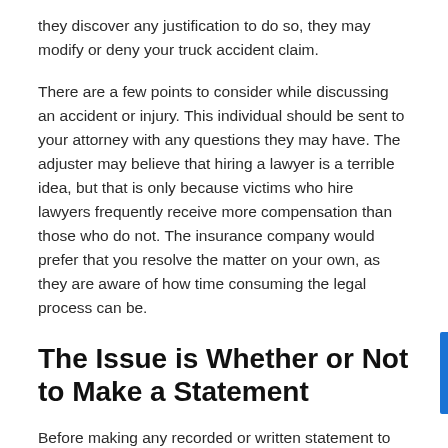they discover any justification to do so, they may modify or deny your truck accident claim.
There are a few points to consider while discussing an accident or injury. This individual should be sent to your attorney with any questions they may have. The adjuster may believe that hiring a lawyer is a terrible idea, but that is only because victims who hire lawyers frequently receive more compensation than those who do not. The insurance company would prefer that you resolve the matter on your own, as they are aware of how time consuming the legal process can be.
The Issue is Whether or Not to Make a Statement
Before making any recorded or written statement to any